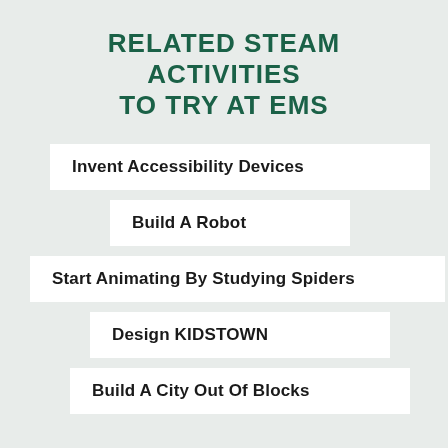RELATED STEAM ACTIVITIES TO TRY AT EMS
Invent Accessibility Devices
Build A Robot
Start Animating By Studying Spiders
Design KIDSTOWN
Build A City Out Of Blocks